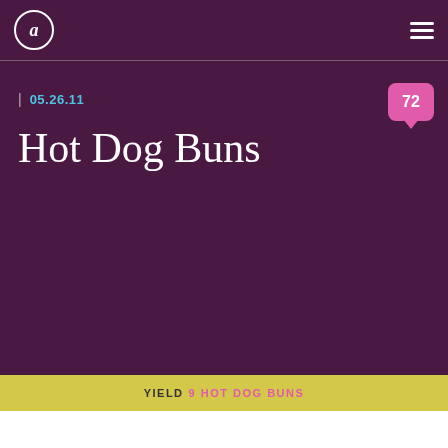a
05.26.11
[Figure (other): Comment count bubble showing 72 comments]
Hot Dog Buns
YIELD 9 HOT DOG BUNS